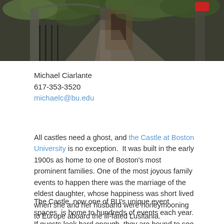[Figure (photo): Photograph of the Castle at Boston University entrance area, showing an archway with greenery/ivy and a pathway leading through iron gates, with a red sign visible in the upper right. Dark, atmospheric image.]
Michael Ciarlante
617-353-3520
michaelc@bu.edu
All castles need a ghost, and the Castle at Boston University is no exception.  It was built in the early 1900s as home to one of Boston's most prominent families. One of the most joyous family events to happen there was the marriage of the eldest daughter, whose happiness was short lived when she and her husband were honeymooning to Europe aboard the ill-fated Lusitania.
The Castle, now one of BU's unique event spaces, is home to hundreds of events each year. If guests look hard enough, they are bound to see our urban ghost...